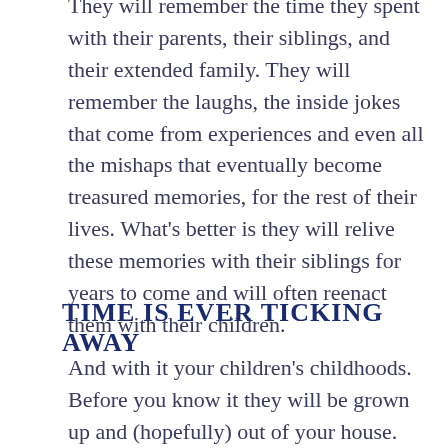They will remember the time they spent with their parents, their siblings, and their extended family. They will remember the laughs, the inside jokes that come from experiences and even all the mishaps that eventually become treasured memories, for the rest of their lives. What's better is they will relive these memories with their siblings for years to come and will often reenact them with their children.
TIME IS EVER TICKING AWAY
And with it your children's childhoods. Before you know it they will be grown up and (hopefully) out of your house. The days of tripping over toys will be gone, but so will the days to take their